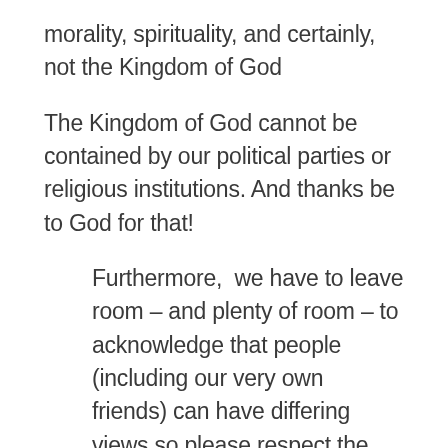morality, spirituality, and certainly, not the Kingdom of God
The Kingdom of God cannot be contained by our political parties or religious institutions. And thanks be to God for that!
Furthermore,  we have to leave room – and plenty of room – to acknowledge that people (including our very own friends) can have differing views so please respect the integrity of other believers as they